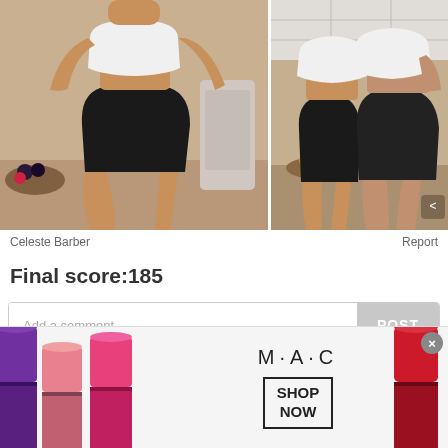[Figure (photo): Side-by-side comparison photos: left shows a slim person in white crop top and black high-waist bikini bottom in a kitchen; right shows a curvier person in the same outfit in a kitchen, Celeste Barber comedy parody post]
Celeste Barber
Report
Final score:185
Add a comment...
POST
Miss Cris  4 years ago
[Figure (photo): MAC Cosmetics advertisement banner showing multiple lipsticks, MAC logo, and SHOP NOW button]